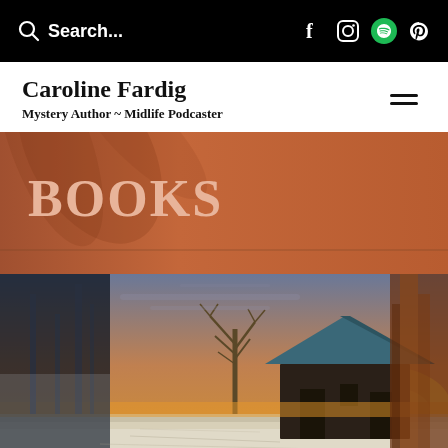Search... [social icons: Facebook, Instagram, Spotify, Pinterest]
Caroline Fardig
Mystery Author ~ Midlife Podcaster
[Figure (other): Orange/terracotta textured banner background with large text 'BOOKS' in a serif font, with a horizontal divider line near the bottom]
[Figure (photo): Collage of scenic photos: center shows a rustic dark wooden barn with a blue metal roof against a dramatic golden sunset sky with bare trees and snow on the ground; left edge shows a misty forest scene; right edge shows a reddish-brown tree trunk scene]